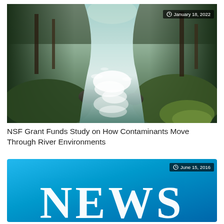[Figure (photo): A rushing river with white rapids surrounded by dense green forest with moss-covered rocks, flowing through a forested canyon]
January 18, 2022
NSF Grant Funds Study on How Contaminants Move Through River Environments
[Figure (photo): Blue banner with large white bold serif text reading NEWS]
June 15, 2016